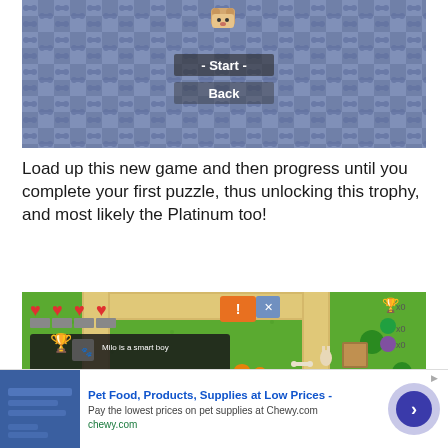[Figure (screenshot): Video game screenshot showing a menu screen with a blue checkered pattern background, a dog character sprite at top center, and two menu options: '- Start -' and 'Back']
Load up this new game and then progress until you complete your first puzzle, thus unlocking this trophy, and most likely the Platinum too!
[Figure (screenshot): Video game screenshot showing a top-down puzzle game with green grassy terrain, a character with an orange hat, path/road tiles in tan color, trees, collectible items, hearts UI at top left, a trophy notification saying 'Milo is a smart boy', PlayStation logo, and item counters at top right showing x0 for multiple items]
[Figure (other): Advertisement banner for Chewy.com: Pet Food, Products, Supplies at Low Prices - Pay the lowest prices on pet supplies at Chewy.com, with a blue image placeholder, navigation arrow button, and close button]